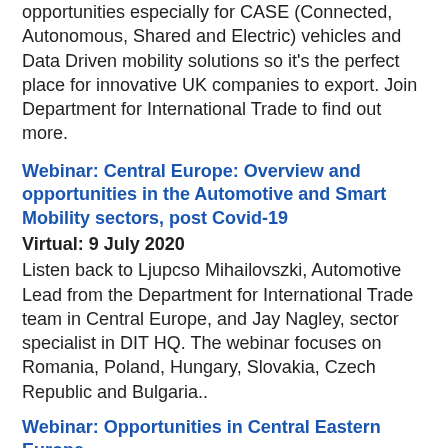opportunities especially for CASE (Connected, Autonomous, Shared and Electric) vehicles and Data Driven mobility solutions so it's the perfect place for innovative UK companies to export. Join Department for International Trade to find out more.
Webinar: Central Europe: Overview and opportunities in the Automotive and Smart Mobility sectors, post Covid-19
Virtual: 9 July 2020
Listen back to Ljupcso Mihailovszki, Automotive Lead from the Department for International Trade team in Central Europe, and Jay Nagley, sector specialist in DIT HQ. The webinar focuses on Romania, Poland, Hungary, Slovakia, Czech Republic and Bulgaria..
Webinar: Opportunities in Central Eastern Europe
Virtual: 13 February 2020
SMMT, Santander and DIT  partnered on this webinar to share information on the Central and Eastern Europe region aimed at UK automotive businesses, with a focus on Czech